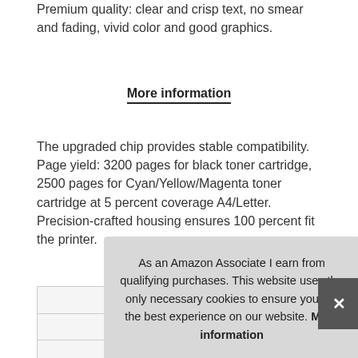Premium quality: clear and crisp text, no smear and fading, vivid color and good graphics.
More information
The upgraded chip provides stable compatibility. Page yield: 3200 pages for black toner cartridge, 2500 pages for Cyan/Yellow/Magenta toner cartridge at 5 percent coverage A4/Letter. Precision-crafted housing ensures 100 percent fit the printer.
| Brand |  |
| --- | --- |
| Brand | OFFICE HELPER |
| Ma |  |
| P |  |
As an Amazon Associate I earn from qualifying purchases. This website uses the only necessary cookies to ensure you get the best experience on our website. More information